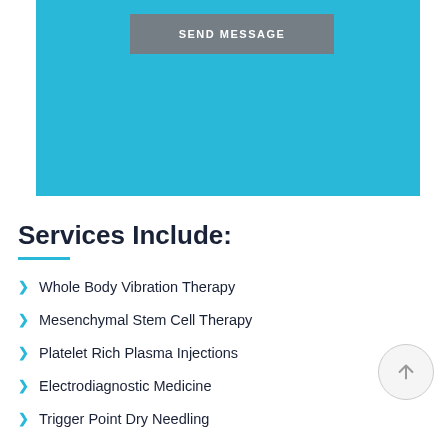[Figure (other): Cyan/teal colored rectangular block with a Send Message button at the top]
Services Include:
Whole Body Vibration Therapy
Mesenchymal Stem Cell Therapy
Platelet Rich Plasma Injections
Electrodiagnostic Medicine
Trigger Point Dry Needling